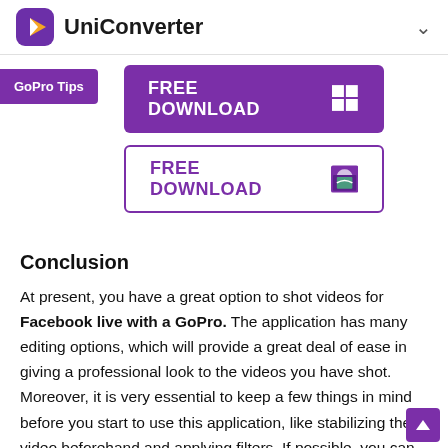UniConverter
[Figure (screenshot): FREE DOWNLOAD button with Windows icon (purple background)]
GoPro Tips
[Figure (screenshot): FREE DOWNLOAD button with Mac Finder icon (white background, purple border)]
Conclusion
At present, you have a great option to shot videos for Facebook live with a GoPro. The application has many editing options, which will provide a great deal of ease in giving a professional look to the videos you have shot. Moreover, it is very essential to keep a few things in mind before you start to use this application, like stabilizing the video beforehand and applying filters. If possible, you can also add a color grade and keep the lighting aspect in